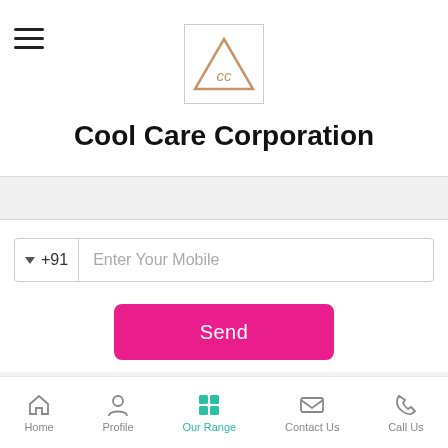[Figure (logo): Cool Care Corporation logo - triangle with CC letters inside, in a bordered box]
Cool Care Corporation
[Figure (screenshot): Grey search/filter bar]
+91  Enter Your Mobile
Send
SMS
Email
Call Us
Home  Profile  Our Range  Contact Us  Call Us